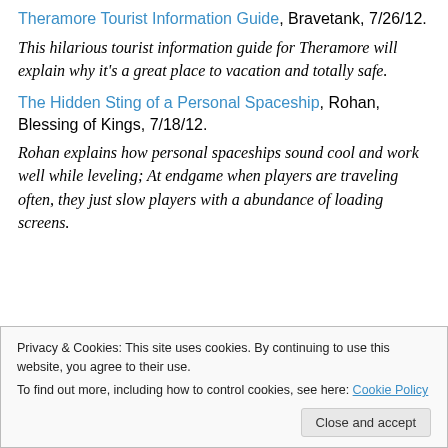Theramore Tourist Information Guide, Bravetank, 7/26/12.
This hilarious tourist information guide for Theramore will explain why it's a great place to vacation and totally safe.
The Hidden Sting of a Personal Spaceship, Rohan, Blessing of Kings, 7/18/12.
Rohan explains how personal spaceships sound cool and work well while leveling; At endgame when players are traveling often, they just slow players with a abundance of loading screens.
Privacy & Cookies: This site uses cookies. By continuing to use this website, you agree to their use. To find out more, including how to control cookies, see here: Cookie Policy
Close and accept